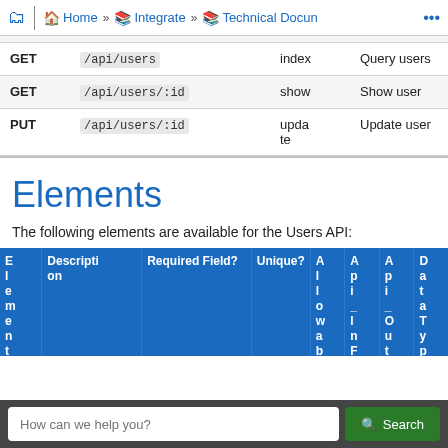Home » Integrate » Technical Documentation
|  | Path | Action | Description |
| --- | --- | --- | --- |
| GET | /api/users | index | Query users |
| GET | /api/users/:id | show | Show user |
| PUT | /api/users/:id | update | Update user |
Elements
The following elements are available for the Users API:
| Element | Description | Required Field? | Unique? | Allowable | Api_Line | Api_Out | DataType |
| --- | --- | --- | --- | --- | --- | --- | --- |